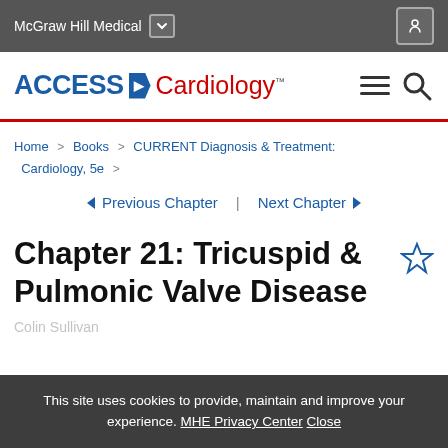McGraw Hill Medical
[Figure (logo): ACCESS Cardiology logo with hamburger menu and search icons]
Home > Books > CURRENT Diagnosis & Treatment: Cardiology, 5e >
◀ Previous Chapter | Next Chapter ▶
Chapter 21: Tricuspid & Pulmonic Valve Disease
This site uses cookies to provide, maintain and improve your experience. MHE Privacy Center Close